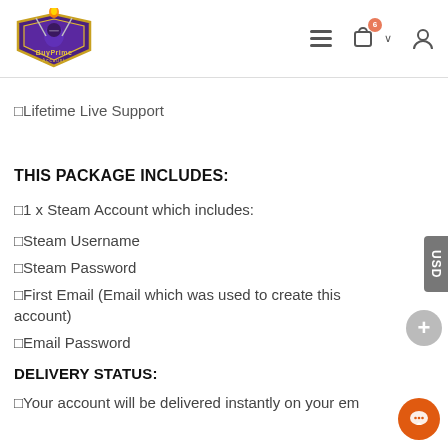BuyPrime Account - navigation header with logo, hamburger menu, cart icon, chevron, and user icon
✓Lifetime Live Support
THIS PACKAGE INCLUDES:
✓1 x Steam Account which includes:
✓Steam Username
✓Steam Password
✓First Email (Email which was used to create this account)
✓Email Password
DELIVERY STATUS:
✓Your account will be delivered instantly on your em...